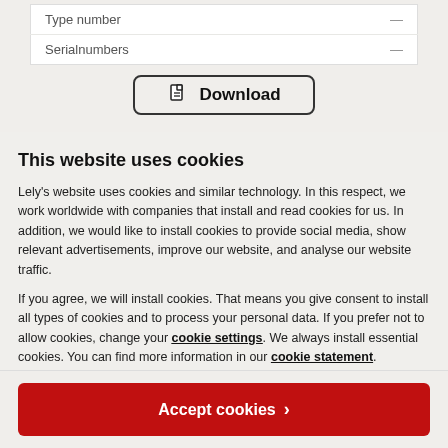| Field | Value |
| --- | --- |
| Type number | — |
| Serialnumbers | — |
[Figure (screenshot): Download button with PDF icon and bold 'Download' text, bordered with rounded rectangle]
This website uses cookies
Lely's website uses cookies and similar technology. In this respect, we work worldwide with companies that install and read cookies for us. In addition, we would like to install cookies to provide social media, show relevant advertisements, improve our website, and analyse our website traffic.
If you agree, we will install cookies. That means you give consent to install all types of cookies and to process your personal data. If you prefer not to allow cookies, change your cookie settings. We always install essential cookies. You can find more information in our cookie statement.
Accept cookies